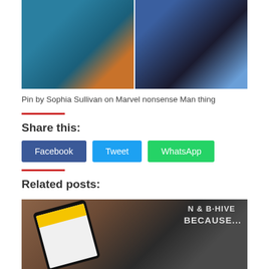[Figure (photo): Two side-by-side photos: left shows a person in a teal shirt holding a child, right shows a person in black standing against a blue background]
Pin by Sophia Sullivan on Marvel nonsense Man thing
Share this:
Facebook  Tweet  WhatsApp
Related posts:
[Figure (photo): Photo of a smartphone on a wooden surface next to a newspaper with text 'B-HIVE BECAUSE...']